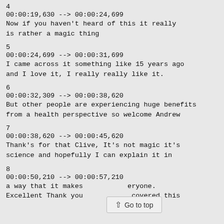4
00:00:19,630 --> 00:00:24,699
Now if you haven't heard of this it really is rather a magic thing
5
00:00:24,699 --> 00:00:31,699
I came across it something like 15 years ago and I love it, I really really like it.
6
00:00:32,309 --> 00:00:38,620
But other people are experiencing huge benefits from a health perspective so welcome Andrew
7
00:00:38,620 --> 00:00:45,620
Thank's for that Clive, It's not magic it's science and hopefully I can explain it in
8
00:00:50,210 --> 00:00:57,210
a way that it makes sense to everyone. Excellent Thank you for having covered this